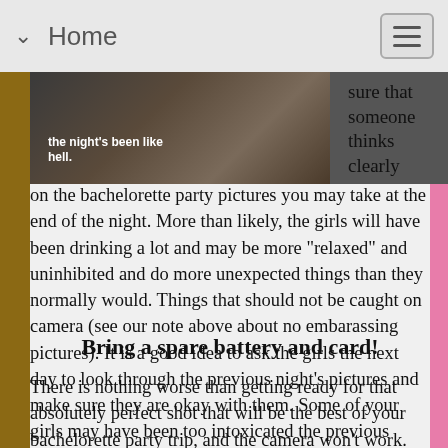Home
[Figure (photo): A dark photo with white bold text overlay reading 'the night's been like hell.']
sure that someone thinks clearly on the bachelorette party pictures you may take at the end of the night. More than likely, the girls will have been drinking a lot and may be more "relaxed" and uninhibited and do more unexpected things than they normally would. Things that should not be caught on camera (see our note above about no embarassing pictures). It is a good idea to ask the girls the next day to look through the previous night's pictures and make sure they are okay with them. Some of your girls may have been too intoxicated the previous day/night to give you a proper answer in good judgement while having fun.
Bring a spare battery and card!
There is nothing worse than getting ready for that absolutely perfect shot that will be the best of your bachelorette party trip, and the camera won't work.